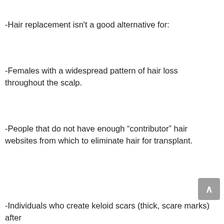-Hair replacement isn't a good alternative for:
-Females with a widespread pattern of hair loss throughout the scalp.
-People that do not have enough “contributor” hair websites from which to eliminate hair for transplant.
-Individuals who create keloid scars (thick, scare marks) after...